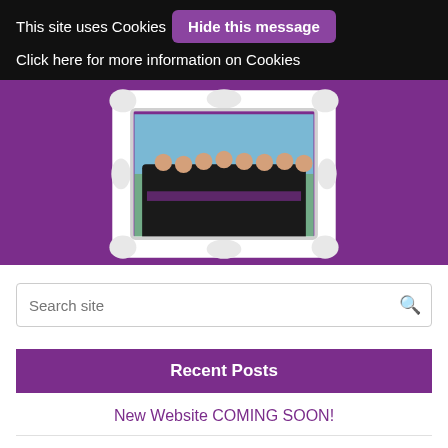This site uses Cookies   Hide this message   Click here for more information on Cookies
[Figure (photo): Group photo of women in black uniforms with purple accents, posed inside an ornate white decorative picture frame, set against a purple background banner]
Search site
Recent Posts
New Website COMING SOON!
Acne Awareness Month